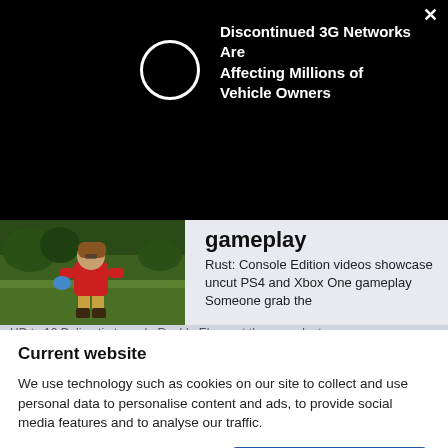[Figure (screenshot): Black advertisement banner with circular loading/logo icon and text about discontinued 3G networks affecting vehicle owners, with X close button]
Discontinued 3G Networks Are Affecting Millions of Vehicle Owners
[Figure (screenshot): Gaming screenshot showing a character in a post-apocalyptic game (Rust: Console Edition), crouching in grass with red clothing and blue gloves]
gameplay
Rust: Console Edition videos showcase uncut PS4 and Xbox One gameplay Someone grab the
Current website
We use technology such as cookies on our site to collect and use personal data to personalise content and ads, to provide social media features and to analyse our traffic.
Do Not Sell My Data
Agree and proceed
Powered by  UniConsent